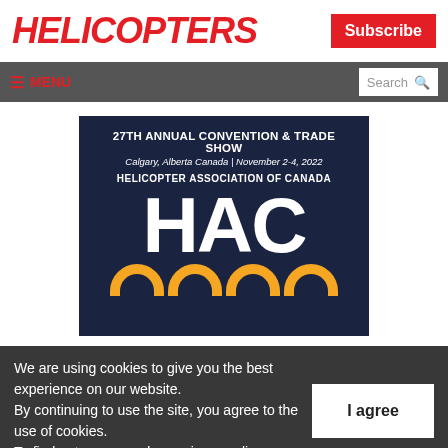HELICOPTERS
Subscribe
≡ MENU  Search
[Figure (illustration): HAC 2022 27th Annual Convention & Trade Show banner. Dark navy background with white bold text 'HAC' and orange arcs forming '2022'. Text: '27TH ANNUAL CONVENTION & TRADE SHOW Calgary, Alberta Canada | November 2-4, 2022 HELICOPTER ASSOCIATION OF CANADA HAC 2022']
We are using cookies to give you the best experience on our website. By continuing to use the site, you agree to the use of cookies. To find out more, read our privacy policy.
I agree